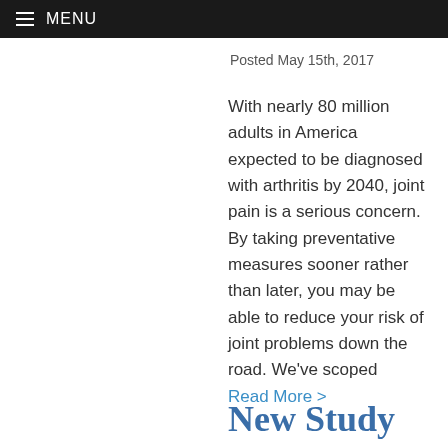≡ MENU
Posted May 15th, 2017
With nearly 80 million adults in America expected to be diagnosed with arthritis by 2040, joint pain is a serious concern. By taking preventative measures sooner rather than later, you may be able to reduce your risk of joint problems down the road. We've scoped
Read More >
New Study